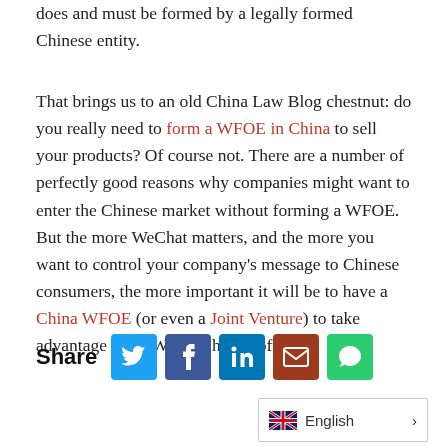does and must be formed by a legally formed Chinese entity.
That brings us to an old China Law Blog chestnut: do you really need to form a WFOE in China to sell your products? Of course not. There are a number of perfectly good reasons why companies might want to enter the Chinese market without forming a WFOE. But the more WeChat matters, and the more you want to control your company’s message to Chinese consumers, the more important it will be to have a China WFOE (or even a Joint Venture) to take advantage of all WeChat has to offer.
Share [Twitter] [Facebook] [LinkedIn] [Email] [Chat]
English >